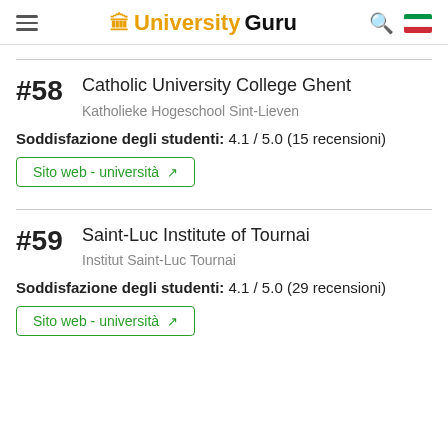UniversityGuru
#58 Catholic University College Ghent — Katholieke Hogeschool Sint-Lieven — Soddisfazione degli studenti: 4.1 / 5.0 (15 recensioni)
Sito web - università
#59 Saint-Luc Institute of Tournai — Institut Saint-Luc Tournai — Soddisfazione degli studenti: 4.1 / 5.0 (29 recensioni)
Sito web - università